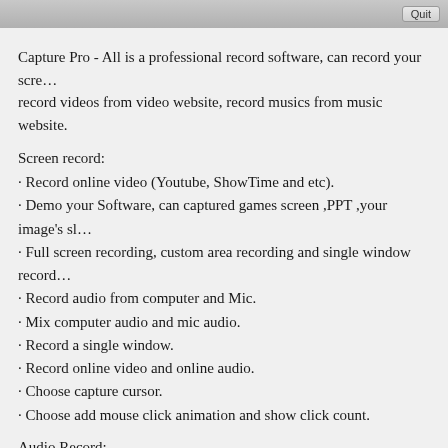[Figure (screenshot): Top bar of a macOS application window with a Quit button on the right side]
Capture Pro - All is a professional record software, can record your screen, record videos from video website, record musics from music website.
Screen record:
· Record online video (Youtube, ShowTime and etc).
· Demo your Software, can captured games screen ,PPT ,your image's sl...
· Full screen recording, custom area recording and single window record...
· Record audio from computer and Mic.
· Mix computer audio and mic audio.
· Record a single window.
· Record online video and online audio.
· Choose capture cursor.
· Choose add mouse click animation and show click count.
Audio Record:
· Record audio from computer.
· Record audio from Mic or other audio input devices.
· Record audio From online Website, youtube, or other music website.